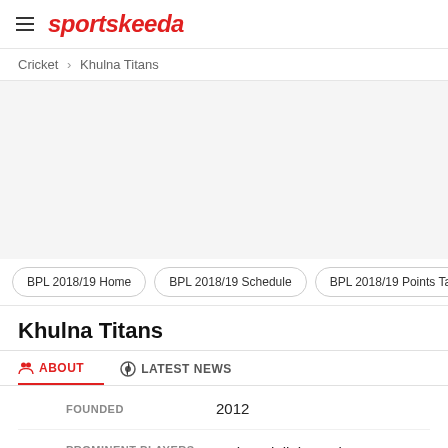sportskeeda
Cricket > Khulna Titans
[Figure (other): Advertisement area (blank/grey)]
BPL 2018/19 Home
BPL 2018/19 Schedule
BPL 2018/19 Points Ta
Khulna Titans
ABOUT   LATEST NEWS
FOUNDED   2012
PROMINENT PLAYERS   Mahmudullah, Carlos Brathwaite, Lasith Malinga, Paul Stirling